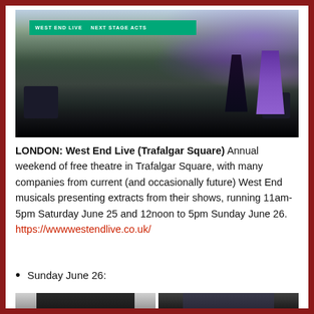[Figure (photo): Stage performance at West End Live in Trafalgar Square showing two performers (a witch in black and a princess in purple) on stage with a large crowd in the background and classical buildings visible]
LONDON: West End Live (Trafalgar Square) Annual weekend of free theatre in Trafalgar Square, with many companies from current (and occasionally future) West End musicals presenting extracts from their shows, running 11am-5pm Saturday June 25 and 12noon to 5pm Sunday June 26.
https://wwwwestendlive.co.uk/
Sunday June 26:
[Figure (photo): Two black and white/dark photos of performers, partial head shots showing hair]